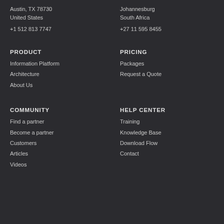Austin, TX 78730
United States
Johannesburg
South Africa
+1 512 813 7747
+27 11 595 8455
PRODUCT
PRICING
Information Platform
Packages
Architecture
Request a Quote
About Us
COMMUNITY
HELP CENTER
Find a partner
Training
Become a partner
Knowledge Base
Customers
Download Flow
Articles
Contact
Videos